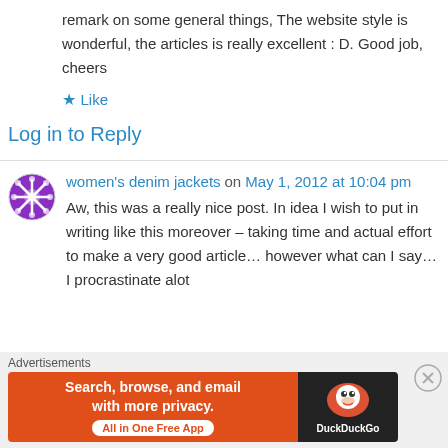remark on some general things, The website style is wonderful, the articles is really excellent : D. Good job, cheers
★ Like
Log in to Reply
women's denim jackets on May 1, 2012 at 10:04 pm
Aw, this was a really nice post. In idea I wish to put in writing like this moreover – taking time and actual effort to make a very good article… however what can I say… I procrastinate alot
Advertisements
[Figure (infographic): DuckDuckGo advertisement banner: Search, browse, and email with more privacy. All in One Free App]